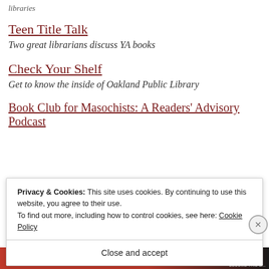libraries
Teen Title Talk
Two great librarians discuss YA books
Check Your Shelf
Get to know the inside of Oakland Public Library
Book Club for Masochists: A Readers' Advisory Podcast
[Figure (screenshot): Cookie consent banner overlay with text: Privacy & Cookies: This site uses cookies. By continuing to use this website, you agree to their use. To find out more, including how to control cookies, see here: Cookie Policy. With a 'Close and accept' button and a close X button.]
[Figure (photo): Partial bottom image bar showing red and dark book/banner imagery]